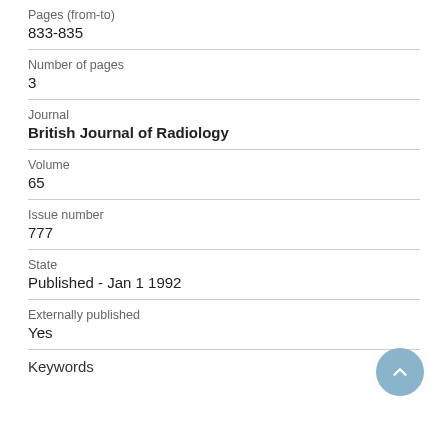Pages (from-to)
833-835
Number of pages
3
Journal
British Journal of Radiology
Volume
65
Issue number
777
State
Published - Jan 1 1992
Externally published
Yes
Keywords